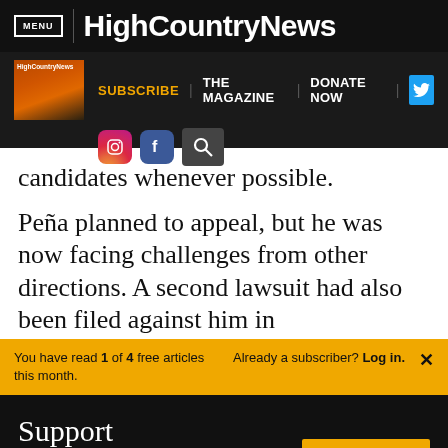MENU | High Country News
[Figure (screenshot): High Country News secondary navigation bar with magazine thumbnail, Subscribe, The Magazine, Donate Now links, Twitter, Instagram, Facebook, and search icons]
candidates whenever possible.
Peña planned to appeal, but he was now facing challenges from other directions. A second lawsuit had also been filed against him in
You have read 1 of 4 free articles this month. Already a subscriber? Log in.
Support independent journalism.
Subscribe